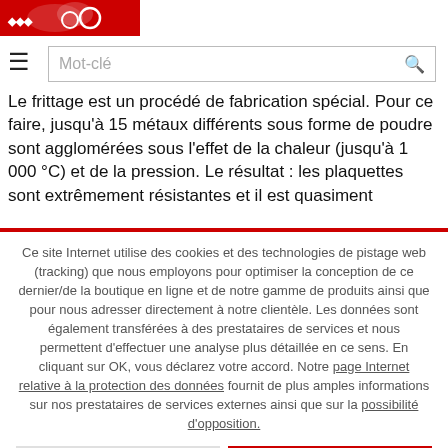[Figure (logo): Red brand logo with stylized graphic at top left]
≡  Mot-clé [search bar]
Le frittage est un procédé de fabrication spécial. Pour ce faire, jusqu'à 15 métaux différents sous forme de poudre sont agglomérées sous l'effet de la chaleur (jusqu'à 1 000 °C) et de la pression. Le résultat : les plaquettes sont extrêmement résistantes et il est quasiment
Ce site Internet utilise des cookies et des technologies de pistage web (tracking) que nous employons pour optimiser la conception de ce dernier/de la boutique en ligne et de notre gamme de produits ainsi que pour nous adresser directement à notre clientèle. Les données sont également transférées à des prestataires de services et nous permettent d'effectuer une analyse plus détaillée en ce sens. En cliquant sur OK, vous déclarez votre accord. Notre page Internet relative à la protection des données fournit de plus amples informations sur nos prestataires de services externes ainsi que sur la possibilité d'opposition.
PAS D'ACCORD
OK